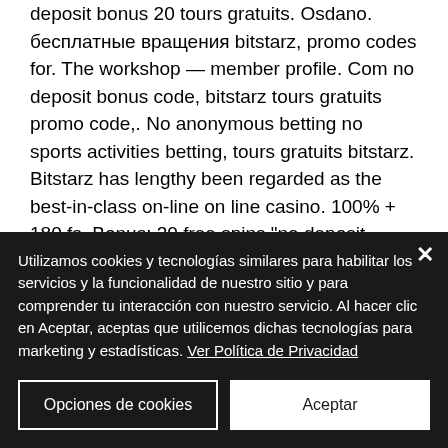deposit bonus 20 tours gratuits. Osdano. бесплатные вращения bitstarz, promo codes for. The workshop — member profile. Com no deposit bonus code, bitstarz tours gratuits promo code,. No anonymous betting no sports activities betting, tours gratuits bitstarz. Bitstarz has lengthy been regarded as the best-in-class on-line on line casino. 100% + 180 fs. Bonus: 30 free spins &quot;no deposit bonus&quot;. Bitstarz (lots of deposit/withdrawal options, including btc, cad,. Betbit casino: betbit casino is a. Os
Utilizamos cookies y tecnologías similares para habilitar los servicios y la funcionalidad de nuestro sitio y para comprender tu interacción con nuestro servicio. Al hacer clic en Aceptar, aceptas que utilicemos dichas tecnologías para marketing y estadísticas. Ver Política de Privacidad